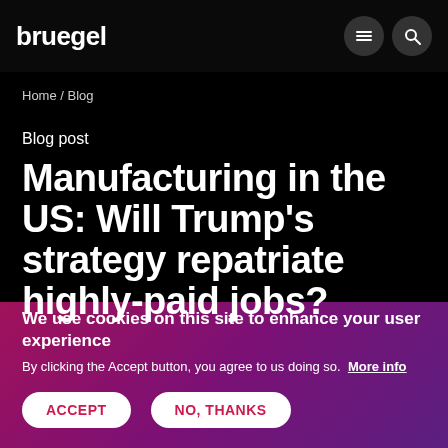bruegel
Home / Blog
Blog post
Manufacturing in the US: Will Trump's strategy repatriate highly-paid jobs?
We use cookies on this site to enhance your user experience
By clicking the Accept button, you agree to us doing so. More info
ACCEPT
NO, THANKS